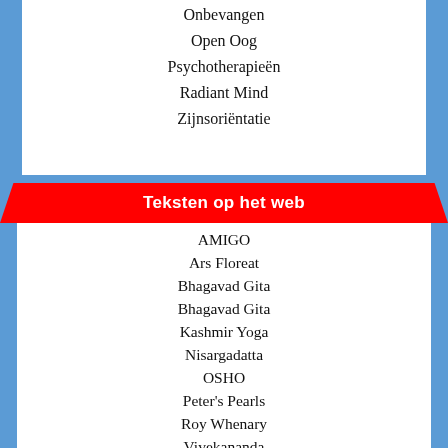Onbevangen
Open Oog
Psychotherapieën
Radiant Mind
Zijnsoriëntatie
Teksten op het web
AMIGO
Ars Floreat
Bhagavad Gita
Bhagavad Gita
Kashmir Yoga
Nisargadatta
OSHO
Peter's Pearls
Roy Whenary
Vivekananda